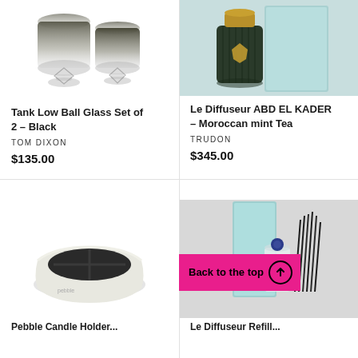[Figure (photo): Two dark smoky glass ball tumblers with clear glass bases, photographed on white background]
Tank Low Ball Glass Set of 2 - Black
TOM DIXON
$135.00
[Figure (photo): Dark ribbed glass diffuser bottle with gold lid, next to light blue rectangular box, on pale blue/mint background]
Le Diffuseur ABD EL KADER - Moroccan mint Tea
TRUDON
$345.00
[Figure (photo): White ceramic candle holder with cross/grid divider and dark interior, sitting on white surface]
Pebble...
[Figure (photo): Reed diffuser refill set with clear glass bottle with dark blue dot stopper, black reed sticks, and light blue tall rectangular box, on grey background. Pink 'Back to the top' button overlaid.]
Le Diffuseur Refill...